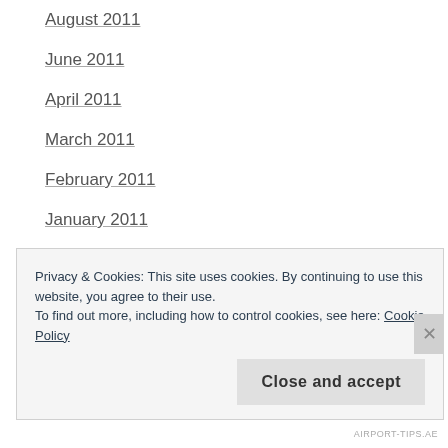August 2011
June 2011
April 2011
March 2011
February 2011
January 2011
December 2010
November 2010
October 2010
August 2010
Privacy & Cookies: This site uses cookies. By continuing to use this website, you agree to their use. To find out more, including how to control cookies, see here: Cookie Policy
Close and accept
AIRPORT-TIPS.AE